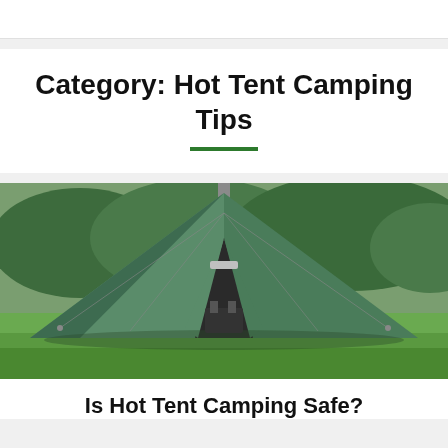Category: Hot Tent Camping Tips
[Figure (photo): A green teepee-style hot tent pitched outdoors on grass, viewed from the front. A metal stovepipe chimney protrudes from the top-center of the tent. The tent entrance is partially open revealing camping gear inside. Green trees and grassland visible in the background.]
Is Hot Tent Camping Safe?